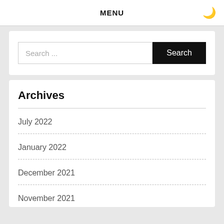MENU
Search ...
Archives
July 2022
January 2022
December 2021
November 2021